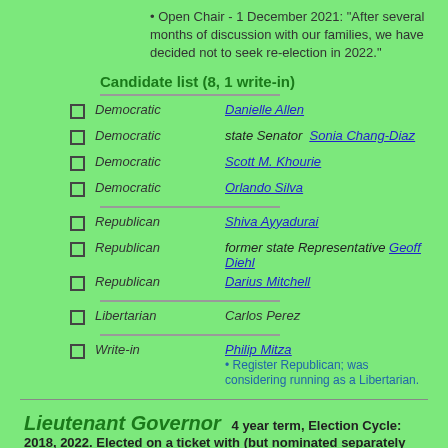Open Chair - 1 December 2021: "After several months of discussion with our families, we have decided not to seek re-election in 2022."
Candidate list (8, 1 write-in)
Democratic  Danielle Allen
Democratic  state Senator  Sonia Chang-Diaz
Democratic  Scott M. Khourie
Democratic  Orlando Silva
Republican  Shiva Ayyadurai
Republican  former state Representative Geoff Diehl
Republican  Darius Mitchell
Libertarian  Carlos Perez
Write-in  Philip Mitza  • Register Republican; was considering running as a Libertarian.
Lieutenant Governor  4 year term, Election Cycle: 2018, 2022. Elected on a ticket with (but nominated separately from) the Governor
Republican  Lieutenant Governor  Karyn E. Polito